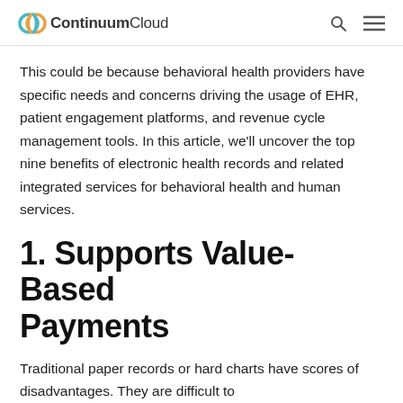ContinuumCloud
This could be because behavioral health providers have specific needs and concerns driving the usage of EHR, patient engagement platforms, and revenue cycle management tools. In this article, we'll uncover the top nine benefits of electronic health records and related integrated services for behavioral health and human services.
1. Supports Value-Based Payments
Traditional paper records or hard charts have scores of disadvantages. They are difficult to